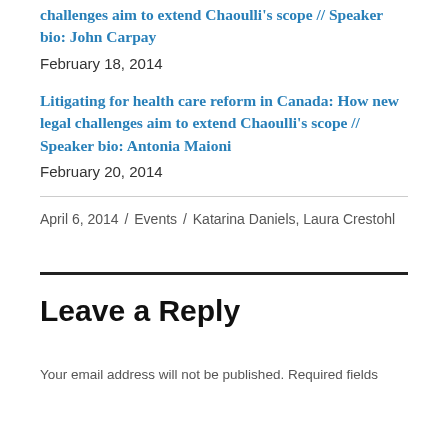challenges aim to extend Chaoulli's scope // Speaker bio: John Carpay
February 18, 2014
Litigating for health care reform in Canada: How new legal challenges aim to extend Chaoulli's scope // Speaker bio: Antonia Maioni
February 20, 2014
April 6, 2014 / Events / Katarina Daniels, Laura Crestohl
Leave a Reply
Your email address will not be published. Required fields